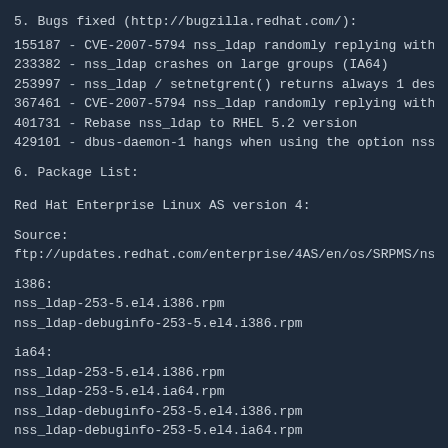5. Bugs fixed (http://bugzilla.redhat.com/):
155187 - CVE-2007-5794 nss_ldap randomly replying with wrong user's data [r
233382 - nss_ldap crashes on large groups (IA64)
253997 - nss_ldap / setnetgrent() returns always 1 despite not retrieving any va
367461 - CVE-2007-5794 nss_ldap randomly replying with wrong user's data
401731 - Rebase nss_ldap to RHEL 5.2 version
429101 - dbus-daemon-1 hangs when using the option nss_initgroups_ignoreu
6. Package List:
Red Hat Enterprise Linux AS version 4:
Source:
ftp://updates.redhat.com/enterprise/4AS/en/os/SRPMS/nss_ldap-253-5.el4.src.
i386:
nss_ldap-253-5.el4.i386.rpm
nss_ldap-debuginfo-253-5.el4.i386.rpm
ia64:
nss_ldap-253-5.el4.i386.rpm
nss_ldap-253-5.el4.ia64.rpm
nss_ldap-debuginfo-253-5.el4.i386.rpm
nss_ldap-debuginfo-253-5.el4.ia64.rpm
ppc:
nss_ldap-253-5.el4.ppc.rpm
nss_ldap-253-5.el4.ppc64.rpm
nss_ldap-debuginfo-253-5.el4.ppc.rpm
nss_ldap-debuginfo-253-5.el4.ppc64.rpm